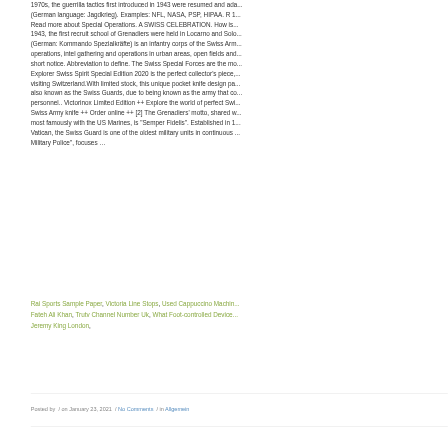1970s, the guerrilla tactics first introduced in 1943 were resumed and ada... (German language: Jagdkrieg). Examples: NFL, NASA, PSP, HIPAA. R 1... Read more about Special Operations. A SWISS CELEBRATION. How is... 1943, the first recruit school of Grenadiers were held in Locarno and Solo... (German: Kommando Spezialkräfte) is an infantry corps of the Swiss Arm... operations, intel gathering and operations in urban areas, open fields and... short notice. Abbreviation to define. The Swiss Special Forces are the mo... Explorer Swiss Spirit Special Edition 2020 is the perfect collector's piece,... visiting Switzerland.With limited stock, this unique pocket knife design pa... also known as the Swiss Guards, due to being known as the army that co... personnel.. Victorinox Limited Edition ++ Explore the world of perfect Swi... Swiss Army knife ++ Order online ++ [2] The Grenadiers' motto, shared w... most famously with the US Marines, is "Semper Fidelis". Established in 1... Vatican, the Swiss Guard is one of the oldest military units in continuous... Military Police", focuses …
Rai Sports Sample Paper, Victoria Line Stops, Used Cappuccino Machin... Fateh Ali Khan, Trutv Channel Number Uk, What Foot-controlled Device... Jeremy King London,
Posted by  / on January 23, 2021  / No Comments  / in Allgemein